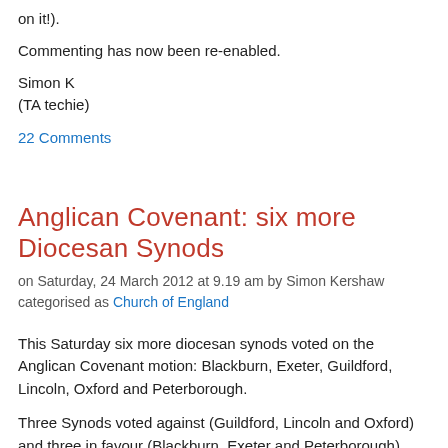on it!).
Commenting has now been re-enabled.
Simon K
(TA techie)
22 Comments
Anglican Covenant: six more Diocesan Synods
on Saturday, 24 March 2012 at 9.19 am by Simon Kershaw
categorised as Church of England
This Saturday six more diocesan synods voted on the Anglican Covenant motion: Blackburn, Exeter, Guildford, Lincoln, Oxford and Peterborough.
Three Synods voted against (Guildford, Lincoln and Oxford) and three in favour (Blackburn, Exeter and Peterborough). With these results the current figures are 23 diocesan synods against and 15 in favour.